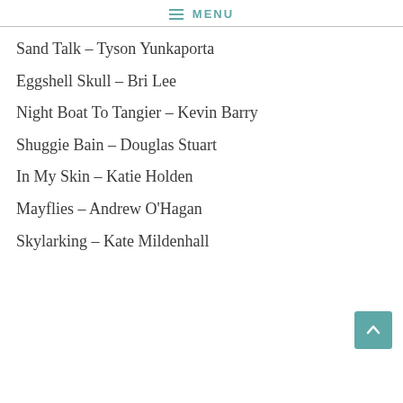≡ MENU
Sand Talk – Tyson Yunkaporta
Eggshell Skull – Bri Lee
Night Boat To Tangier – Kevin Barry
Shuggie Bain – Douglas Stuart
In My Skin – Katie Holden
Mayflies – Andrew O'Hagan
Skylarking – Kate Mildenhall